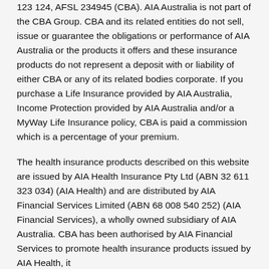123 124, AFSL 234945 (CBA). AIA Australia is not part of the CBA Group. CBA and its related entities do not sell, issue or guarantee the obligations or performance of AIA Australia or the products it offers and these insurance products do not represent a deposit with or liability of either CBA or any of its related bodies corporate. If you purchase a Life Insurance provided by AIA Australia, Income Protection provided by AIA Australia and/or a MyWay Life Insurance policy, CBA is paid a commission which is a percentage of your premium.
The health insurance products described on this website are issued by AIA Health Insurance Pty Ltd (ABN 32 611 323 034) (AIA Health) and are distributed by AIA Financial Services Limited (ABN 68 008 540 252) (AIA Financial Services), a wholly owned subsidiary of AIA Australia. CBA has been authorised by AIA Financial Services to promote health insurance products issued by AIA Health, its...